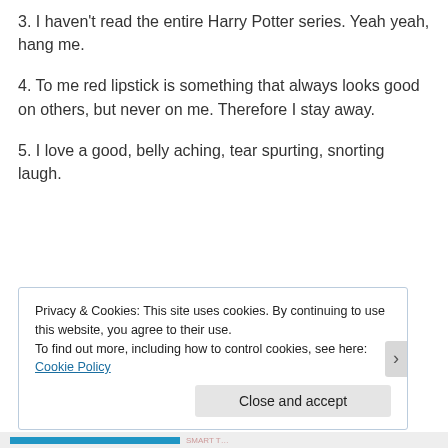3. I haven't read the entire Harry Potter series. Yeah yeah, hang me.
4. To me red lipstick is something that always looks good on others, but never on me. Therefore I stay away.
5. I love a good, belly aching, tear spurting, snorting laugh.
Privacy & Cookies: This site uses cookies. By continuing to use this website, you agree to their use.
To find out more, including how to control cookies, see here: Cookie Policy